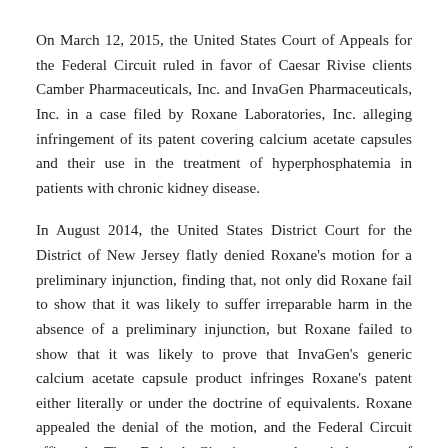On March 12, 2015, the United States Court of Appeals for the Federal Circuit ruled in favor of Caesar Rivise clients Camber Pharmaceuticals, Inc. and InvaGen Pharmaceuticals, Inc. in a case filed by Roxane Laboratories, Inc. alleging infringement of its patent covering calcium acetate capsules and their use in the treatment of hyperphosphatemia in patients with chronic kidney disease.
In August 2014, the United States District Court for the District of New Jersey flatly denied Roxane's motion for a preliminary injunction, finding that, not only did Roxane fail to show that it was likely to suffer irreparable harm in the absence of a preliminary injunction, but Roxane failed to show that it was likely to prove that InvaGen's generic calcium acetate capsule product infringes Roxane's patent either literally or under the doctrine of equivalents. Roxane appealed the denial of the motion, and the Federal Circuit affirmed. The Federal Circuit entered a judgment of affirmance without an opinion under Federal Circuit Rule 36.